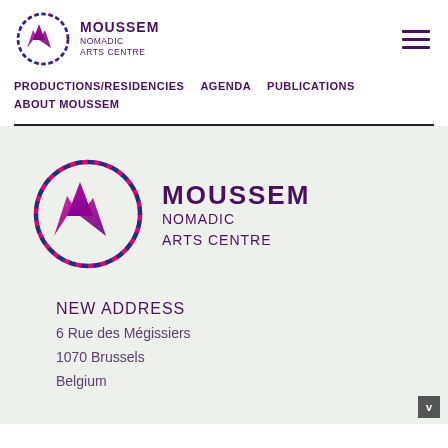[Figure (logo): Moussem Nomadic Arts Centre logo - small version in header, circular dashed border with stylized M icon]
MOUSSEM NOMADIC ARTS CENTRE
PRODUCTIONS/RESIDENCIES
AGENDA
PUBLICATIONS
ABOUT MOUSSEM
[Figure (logo): Moussem Nomadic Arts Centre logo - large version, circular dashed border with stylized M icon in magenta and purple]
MOUSSEM NOMADIC ARTS CENTRE
NEW ADDRESS
6 Rue des Mégissiers
1070 Brussels
Belgium